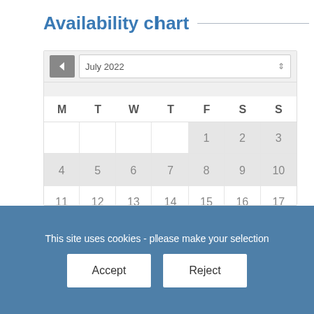Availability chart
[Figure (other): A monthly availability calendar showing July 2022 with a navigation bar (back arrow, month/year dropdown), day headers M T W T F S S, and date cells 1-17 visible (rows with 1-3, 4-10, 11-17). Weekend cells (Sat/Sun) and cells for dates 1-10 are shaded gray. A partially visible row shows dates 18-24.]
This site uses cookies - please make your selection
Accept
Reject